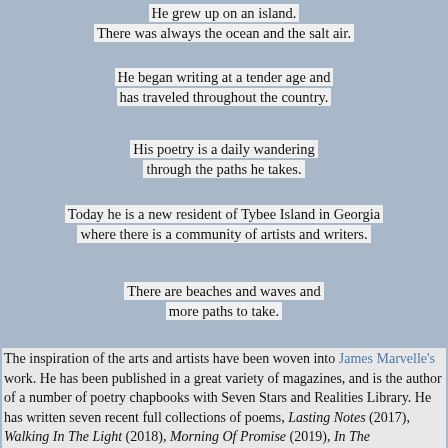He grew up on an island.
There was always the ocean and the salt air.
He began writing at a tender age and
has traveled throughout the country.
His poetry is a daily wandering
through the paths he takes.
Today he is a new resident of Tybee Island in Georgia
where there is a community of artists and writers.
There are beaches and waves and
more paths to take.
The inspiration of the arts and artists have been woven into James Marvelle's work. He has been published in a great variety of magazines, and is the author of a number of poetry chapbooks with Seven Stars and Realities Library. He has written seven recent full collections of poems, Lasting Notes (2017), Walking In The Light (2018), Morning Of Promise (2019), In The